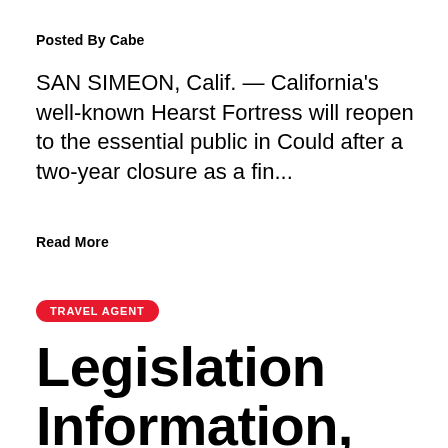Posted By Cabe
SAN SIMEON, Calif. — California's well-known Hearst Fortress will reopen to the essential public in Could after a two-year closure as a fin...
Read More
TRAVEL AGENT
Legislation Information, Approved Information, Court